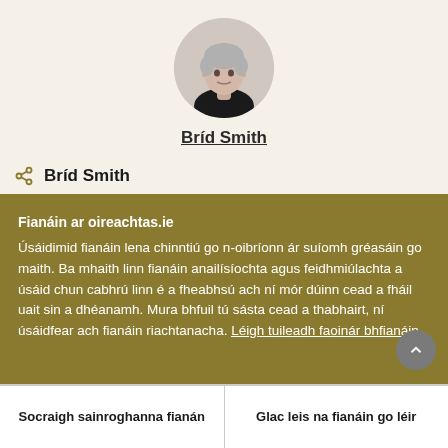[Figure (photo): Circular portrait photo of Bríd Smith, a woman with short grey hair]
Bríd Smith
Bríd Smith
Fianáin ar oireachtas.ie
Úsáidimid fianáin lena chinntiú go n-oibríonn ár suíomh gréasáin go maith. Ba mhaith linn fianáin anailísíochta agus feidhmiúlachta a úsáid chun cabhrú linn é a fheabhsú ach ní mór dúinn cead a fháil uait sin a dhéanamh. Mura bhfuil tú sásta cead a thabhairt, ní úsáidfear ach fianáin riachtanacha. Léigh tuileadh faoinár bhfianáin
Socraigh sainroghanna fianán
Glac leis na fianáin go léir